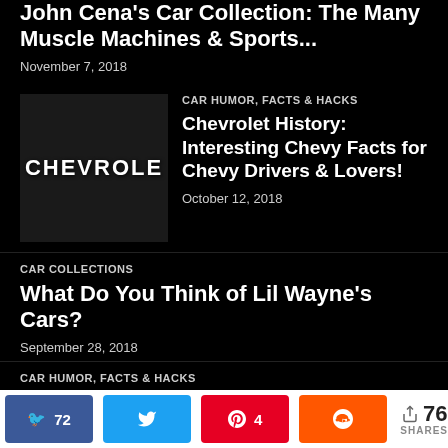John Cena's Car Collection: The Many Muscle Machines & Sports...
November 7, 2018
[Figure (photo): Chevrolet logo/badge close-up on dark background with CHEVROLET text]
CAR HUMOR, FACTS & HACKS
Chevrolet History: Interesting Chevy Facts for Chevy Drivers & Lovers!
October 12, 2018
CAR COLLECTIONS
What Do You Think of Lil Wayne's Cars?
September 28, 2018
CAR HUMOR, FACTS & HACKS
These Are The 9 Most Ugly
72 [Facebook] [Twitter] 4 [Pinterest] [Reddit] < 76 SHARES